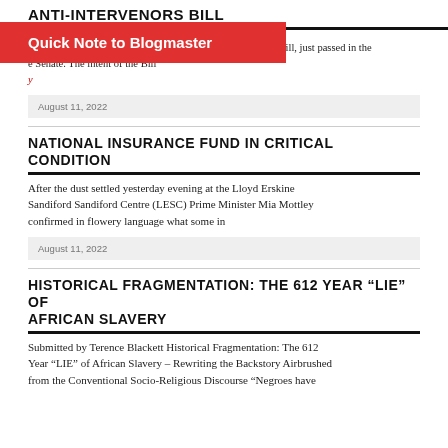ANTI-INTERVENORS BILL
(amendment) bill, just passed in the Senate. The intent of the Bill
Quick Note to Blogmaster
August 11, 2022
NATIONAL INSURANCE FUND IN CRITICAL CONDITION
After the dust settled yesterday evening at the Lloyd Erskine Sandiford Sandiford Centre (LESC) Prime Minister Mia Mottley confirmed in flowery language what some in
August 11, 2022
HISTORICAL FRAGMENTATION: THE 612 YEAR “LIE” OF AFRICAN SLAVERY
Submitted by Terence Blackett Historical Fragmentation: The 612 Year “LIE” of African Slavery – Rewriting the Backstory Airbrushed from the Conventional Socio-Religious Discourse “Negroes have